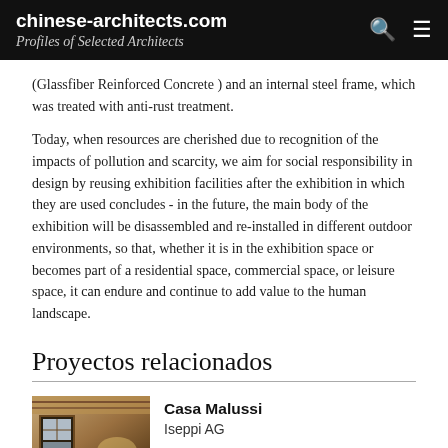chinese-architects.com Profiles of Selected Architects
(Glassfiber Reinforced Concrete ) and an internal steel frame, which was treated with anti-rust treatment.
Today, when resources are cherished due to recognition of the impacts of pollution and scarcity, we aim for social responsibility in design by reusing exhibition facilities after the exhibition in which they are used concludes - in the future, the main body of the exhibition will be disassembled and re-installed in different outdoor environments, so that, whether it is in the exhibition space or becomes part of a residential space, commercial space, or leisure space, it can endure and continue to add value to the human landscape.
Proyectos relacionados
[Figure (photo): Interior room photo showing wooden walls and ceiling with warm lighting]
Casa Malussi
Iseppi AG